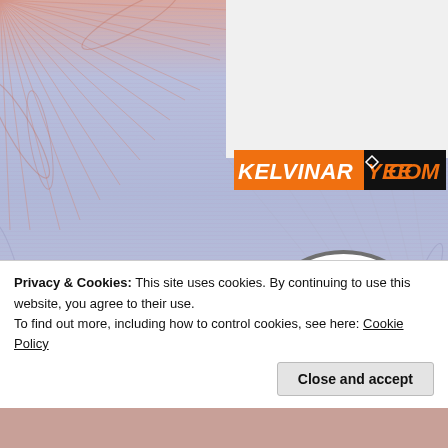[Figure (illustration): Website screenshot background with decorative sunburst/palm pattern in pink and lavender-blue tones]
[Figure (logo): KELVINARYEE.COM logo banner - orange and black with italic text]
[Figure (illustration): Circle illustration of a female hiker with backpack on teal background]
[Figure (logo): Circle logo with green mountain peaks, arrow, and partial text 'Gut Z']
Privacy & Cookies: This site uses cookies. By continuing to use this website, you agree to their use.
To find out more, including how to control cookies, see here: Cookie Policy
Close and accept